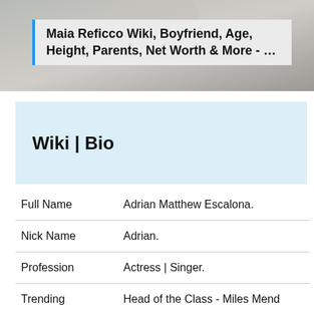[Figure (photo): Top portion of a webpage showing a person's photo in the background]
Maia Reficco Wiki, Boyfriend, Age, Height, Parents, Net Worth & More - …
Wiki | Bio
| Full Name | Adrian Matthew Escalona. |
| Nick Name | Adrian. |
| Profession | Actress | Singer. |
| Trending | Head of the Class - Miles Mend |